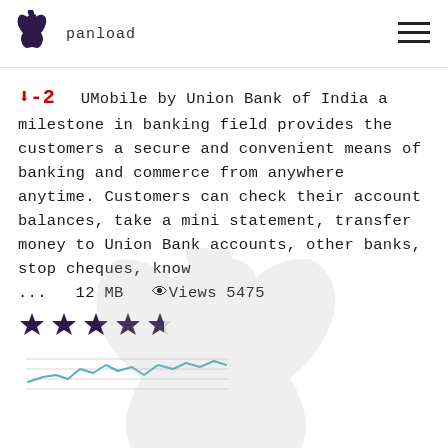panload
▼-2  UMobile by Union Bank of India a milestone in banking field provides the customers a secure and convenient means of banking and commerce from anywhere anytime. Customers can check their account balances, take a mini statement, transfer money to Union Bank accounts, other banks, stop cheques, know ...   12 MB   👁 Views 5475
[Figure (other): Star rating showing approximately 4 out of 5 stars]
[Figure (line-chart): Small sparkline/trend chart with a wavy blue-green line over light horizontal grid lines]
[Figure (logo): Large faded Apple logo watermark in light gray at the bottom of the page]